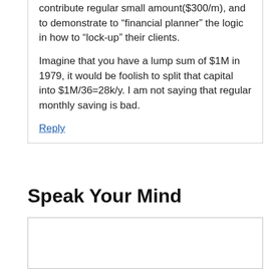contribute regular small amount($300/m), and to demonstrate to “financial planner” the logic in how to “lock-up” their clients.
Imagine that you have a lump sum of $1M in 1979, it would be foolish to split that capital into $1M/36=28k/y. I am not saying that regular monthly saving is bad.
Reply
Speak Your Mind